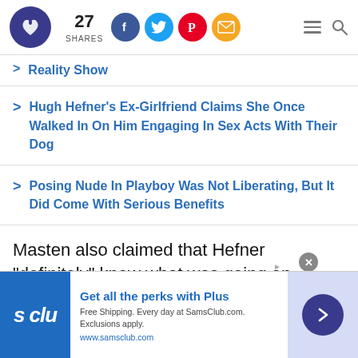27 SHARES
Reality Show
Hugh Hefner's Ex-Girlfriend Claims She Once Walked In On Him Engaging In Sex Acts With Their Dog
Posing Nude In Playboy Was Not Liberating, But It Did Come With Serious Benefits
Masten also claimed that Hefner "definitely" knew what was going on behind the scenes
[Figure (screenshot): SamsClub advertisement: Get all the perks with Plus. Free Shipping. Every day at SamsClub.com. Exclusions apply. www.samsclub.com]